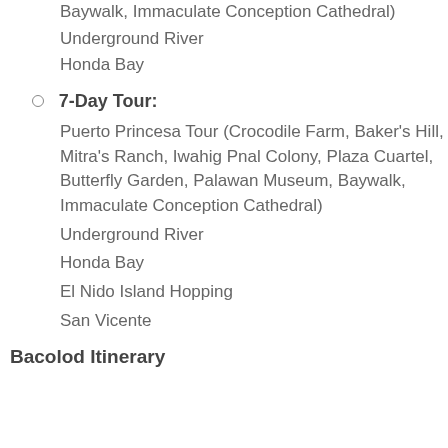Baywalk, Immaculate Conception Cathedral)
Underground River
Honda Bay
7-Day Tour:
Puerto Princesa Tour (Crocodile Farm, Baker's Hill, Mitra's Ranch, Iwahig Pnal Colony, Plaza Cuartel, Butterfly Garden, Palawan Museum, Baywalk, Immaculate Conception Cathedral)
Underground River
Honda Bay
El Nido Island Hopping
San Vicente
Bacolod Itinerary